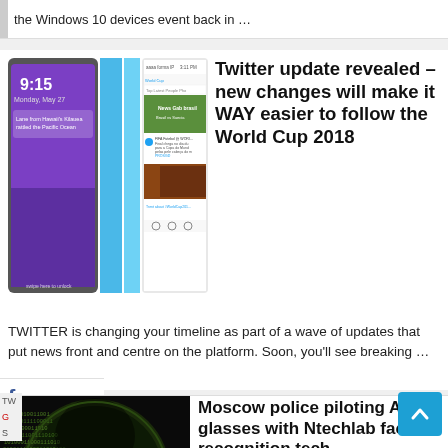the Windows 10 devices event back in …
[Figure (screenshot): Two mobile phone screenshots showing Twitter World Cup feed alongside a purple lock screen showing time 9:15, Monday May 27, with blue vertical bars separating them]
Twitter update revealed – new changes will make it WAY easier to follow the World Cup 2018
TWITTER is changing your timeline as part of a wave of updates that put news front and centre on the platform. Soon, you'll see breaking …
f
SHARE
[Figure (photo): Dark silhouette of a human head covered in green binary code (0s and 1s), resembling a digital surveillance or facial recognition concept]
Moscow police piloting AR glasses with Ntechlab facial recognition tech
Moscow's Department of Information Technology is testing augmented reality glasses that
[Figure (other): Blue scroll-to-top button with upward chevron arrow]